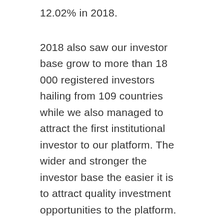12.02% in 2018.
2018 also saw our investor base grow to more than 18 000 registered investors hailing from 109 countries while we also managed to attract the first institutional investor to our platform. The wider and stronger the investor base the easier it is to attract quality investment opportunities to the platform.